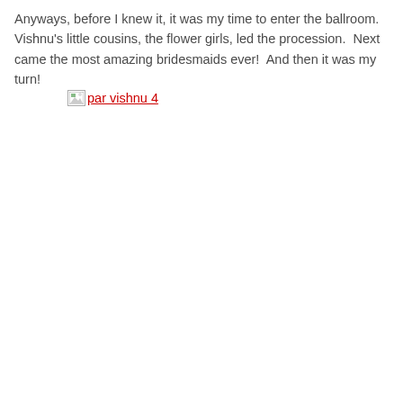Anyways, before I knew it, it was my time to enter the ballroom.  Vishnu's little cousins, the flower girls, led the procession.  Next came the most amazing bridesmaids ever!  And then it was my turn!
[Figure (photo): Broken image placeholder with link text 'par vishnu 4']